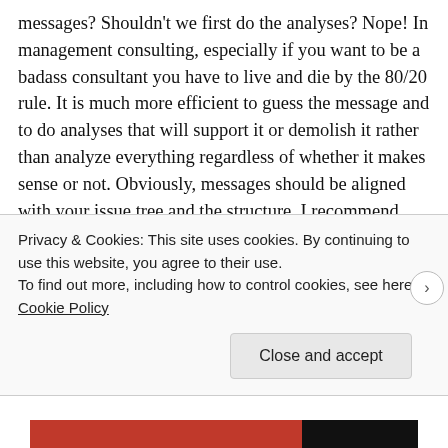messages? Shouldn't we first do the analyses? Nope! In management consulting, especially if you want to be a badass consultant you have to live and die by the 80/20 rule. It is much more efficient to guess the message and to do analyses that will support it or demolish it rather than analyze everything regardless of whether it makes sense or not. Obviously, messages should be aligned with your issue tree and the structure. I recommend putting only 1 message per slide. In this way, the presentations are easier to read for non-consultants. Here you have an example of such a presentation on Low-Cost Business models. Below we
Privacy & Cookies: This site uses cookies. By continuing to use this website, you agree to their use.
To find out more, including how to control cookies, see here: Cookie Policy
Close and accept